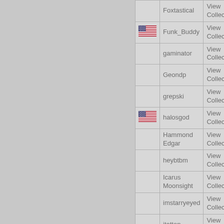| Flag | Username | Action | Extra |
| --- | --- | --- | --- |
|  | Foxtastical | View Collection |  |
| US | Funk_Buddy | View Collection |  |
|  | gaminator | View Collection |  |
|  | Geondp | View Collection |  |
|  | grepski | View Collection |  |
| US | halosgod | View Collection |  |
|  | Hammond Edgar | View Collection |  |
|  | heybtbm | View Collection |  |
|  | Icarus Moonsight | View Collection |  |
|  | imstarryeyed | View Collection |  |
|  | itatton | View Collection |  |
|  | Jade | View Collection |  |
| US | Jago | View Collection |  |